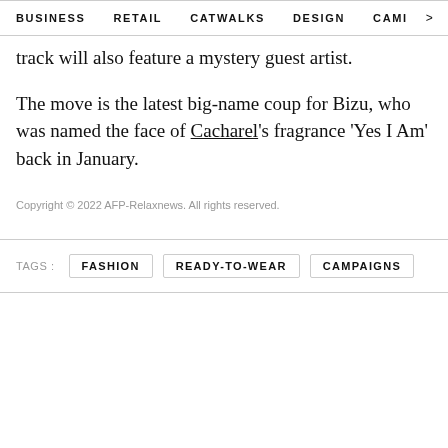BUSINESS   RETAIL   CATWALKS   DESIGN   CAMI >
track will also feature a mystery guest artist.
The move is the latest big-name coup for Bizu, who was named the face of Cacharel's fragrance 'Yes I Am' back in January.
Copyright © 2022 AFP-Relaxnews. All rights reserved.
TAGS :   FASHION   READY-TO-WEAR   CAMPAIGNS